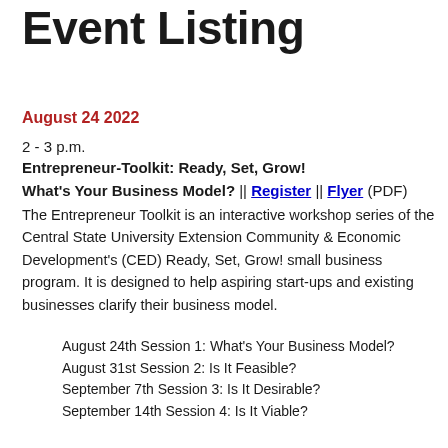Event Listing
August 24 2022
2 - 3 p.m.
Entrepreneur-Toolkit: Ready, Set, Grow!
What's Your Business Model? || Register || Flyer (PDF)
The Entrepreneur Toolkit is an interactive workshop series of the Central State University Extension Community & Economic Development's (CED) Ready, Set, Grow! small business program. It is designed to help aspiring start-ups and existing businesses clarify their business model.
August 24th Session 1: What's Your Business Model?
August 31st Session 2: Is It Feasible?
September 7th Session 3: Is It Desirable?
September 14th Session 4: Is It Viable?